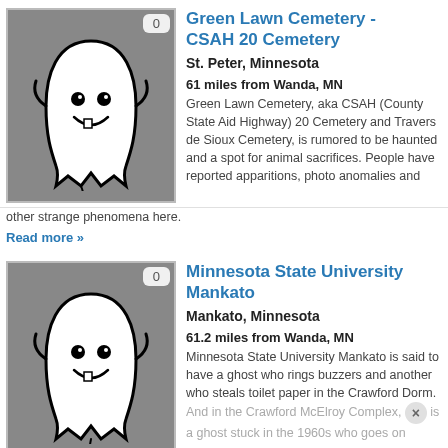[Figure (illustration): Ghost cartoon illustration on gray background with vote badge showing 0]
Green Lawn Cemetery - CSAH 20 Cemetery
St. Peter, Minnesota
61 miles from Wanda, MN
Green Lawn Cemetery, aka CSAH (County State Aid Highway) 20 Cemetery and Traverse de Sioux Cemetery, is rumored to be haunted and a spot for animal sacrifices. People have reported apparitions, photo anomalies and other strange phenomena here.
Read more »
[Figure (illustration): Ghost cartoon illustration on gray background with vote badge showing 0]
Minnesota State University Mankato
Mankato, Minnesota
61.2 miles from Wanda, MN
Minnesota State University Mankato is said to have a ghost who rings buzzers and another who steals toilet paper in the Crawford Dorm. And in the Crawford McElroy Complex, is a ghost stuck in the 1960s who goes on candy raids.